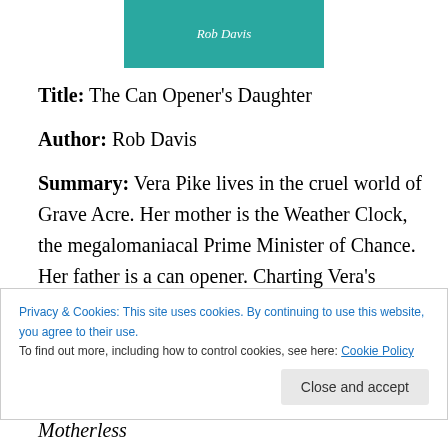[Figure (illustration): Book cover image with teal/green background and author name 'Rob Davis' in white italic text]
Title: The Can Opener's Daughter
Author: Rob Davis
Summary: Vera Pike lives in the cruel world of Grave Acre. Her mother is the Weather Clock, the megalomaniacal Prime Minister of Chance. Her father is a can opener. Charting Vera's childhood, the second part of Rob Davis' trilogy takes us from her home in Parliament to
Privacy & Cookies: This site uses cookies. By continuing to use this website, you agree to their use. To find out more, including how to control cookies, see here: Cookie Policy
answers many of the questions posed in The Motherless